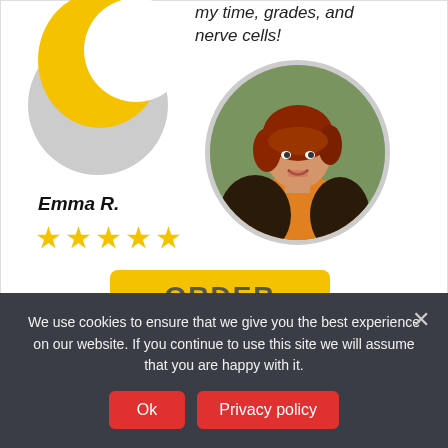[Figure (illustration): Abstract circular avatar with yellow and gray shapes overlapping]
my time, grades, and nerve cells!
[Figure (photo): Circular photo of a smiling woman with red hair wearing a yellow top and dark floral jacket]
Emma R.
★★★★★
ORDER
Professional Homework Help
We use cookies to ensure that we give you the best experience on our website. If you continue to use this site we will assume that you are happy with it.
Ok
Privacy policy